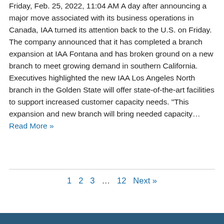Friday, Feb. 25, 2022, 11:04 AM A day after announcing a major move associated with its business operations in Canada, IAA turned its attention back to the U.S. on Friday. The company announced that it has completed a branch expansion at IAA Fontana and has broken ground on a new branch to meet growing demand in southern California. Executives highlighted the new IAA Los Angeles North branch in the Golden State will offer state-of-the-art facilities to support increased customer capacity needs. "This expansion and new branch will bring needed capacity... Read More »
1  2  3  ...  12  Next »